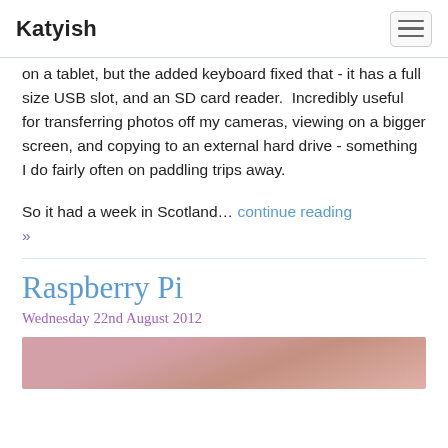Katyish
on a tablet, but the added keyboard fixed that - it has a full size USB slot, and an SD card reader.  Incredibly useful for transferring photos off my cameras, viewing on a bigger screen, and copying to an external hard drive - something I do fairly often on paddling trips away.
So it had a week in Scotland… continue reading »
Raspberry Pi
Wednesday 22nd August 2012
[Figure (photo): Partial photo at bottom of page, pink tones visible]